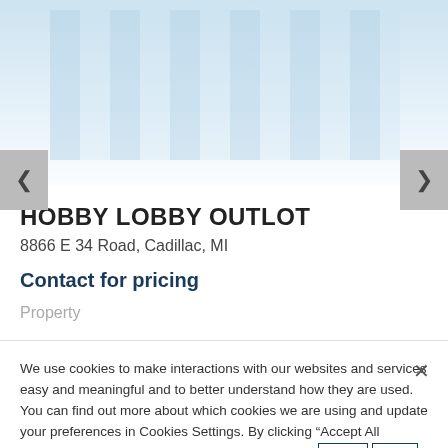[Figure (screenshot): Top portion of a real estate listing page showing a building photograph with light blue tones and navigation arrows on either side]
HOBBY LOBBY OUTLOT
8866 E 34 Road, Cadillac, MI
Contact for pricing
Property
We use cookies to make interactions with our websites and services easy and meaningful and to better understand how they are used. You can find out more about which cookies we are using and update your preferences in Cookies Settings. By clicking “Accept All Cookies,” you are agreeing to our use of cookies. Cookie Notice.
Cookies Settings
Accept All Cookies